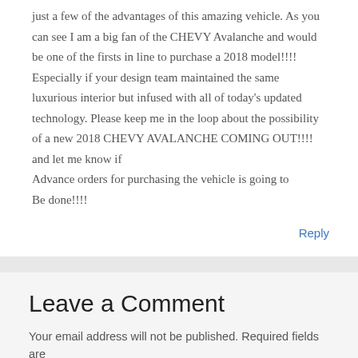just a few of the advantages of this amazing vehicle. As you can see I am a big fan of the CHEVY Avalanche and would be one of the firsts in line to purchase a 2018 model!!!! Especially if your design team maintained the same luxurious interior but infused with all of today's updated technology. Please keep me in the loop about the possibility of a new 2018 CHEVY AVALANCHE COMING OUT!!!! and let me know if Advance orders for purchasing the vehicle is going to Be done!!!!
Reply
Leave a Comment
Your email address will not be published. Required fields are